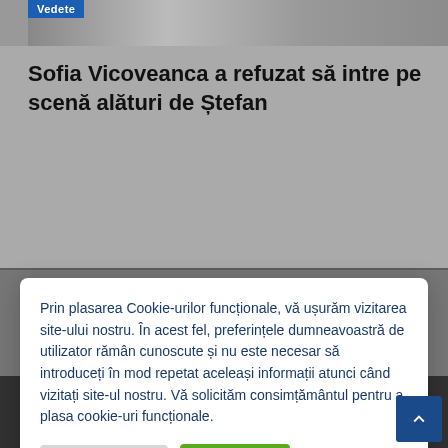[Figure (screenshot): Website screenshot showing a news article thumbnail with 'Vedete' badge and partial article title about Sofia Vicoveanca]
Sofia Vicoveanca a refuzat să intre pe scenă alături de Ștefan
Prin plasarea Cookie-urilor funcționale, vă ușurăm vizitarea site-ului nostru. În acest fel, preferințele dumneavoastră de utilizator rămân cunoscute și nu este necesar să introduceți în mod repetat aceleași informații atunci când vizitați site-ul nostru. Vă solicităm consimțământul pentru a plasa cookie-uri funcționale.
Setări cookies
Accept
Politica de confidențialitate
Termeni și condiții
Politica de cookies
Codul deontologic
Etno Folder Media S.R.L.